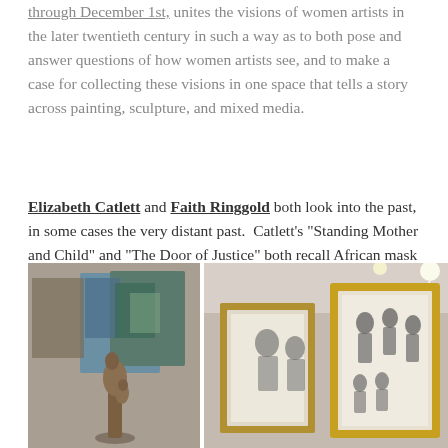through December 1st, unites the visions of women artists in the later twentieth century in such a way as to both pose and answer questions of how women artists see, and to make a case for collecting these visions in one space that tells a story across painting, sculpture, and mixed media.
Elizabeth Catlett and Faith Ringgold both look into the past, in some cases the very distant past. Catlett's "Standing Mother and Child" and "The Door of Justice" both recall African mask traditions (I am not an expert, but for me they evoke the Dean gle of the Dan people of Liberia) in the stylized but steady faces...
[Figure (photo): Two-panel photograph of an art gallery. Left panel shows a bronze sculpture of a mother and child figure with abstract paintings in blue and green tones on the wall behind. Right panel shows a framed artwork with a golden frame containing what appears to be a drawing or print of a family group.]